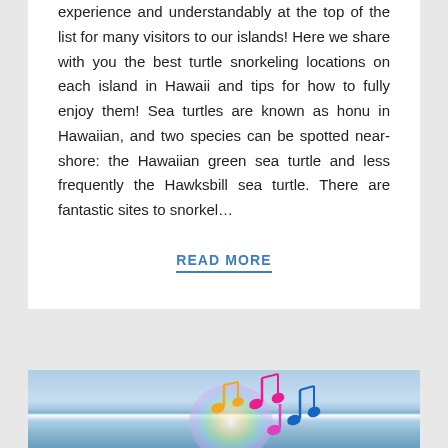experience and understandably at the top of the list for many visitors to our islands! Here we share with you the best turtle snorkeling locations on each island in Hawaii and tips for how to fully enjoy them! Sea turtles are known as honu in Hawaiian, and two species can be spotted near-shore: the Hawaiian green sea turtle and less frequently the Hawksbill sea turtle. There are fantastic sites to snorkel...
READ MORE
[Figure (photo): Ocean waves scene with colorful music notes graphic overlay (orange, pink/magenta, and blue musical notes with a rainbow/colorful circular design element) against a beach/ocean background.]